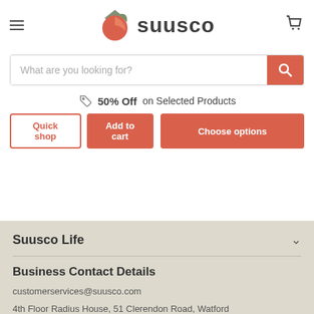[Figure (logo): Suusco logo with circular icon (green and coral/orange shapes) and brand name 'suusco' in dark gray]
[Figure (screenshot): Search bar with placeholder 'What are you looking for?' and orange search button]
50% Off on Selected Products
[Figure (screenshot): Product action buttons: 'Quick shop', 'Add to cart', and 'Choose options']
Suusco Life
Business Contact Details
customerservices@suusco.com
4th Floor Radius House, 51 Clerendon Road, Watford